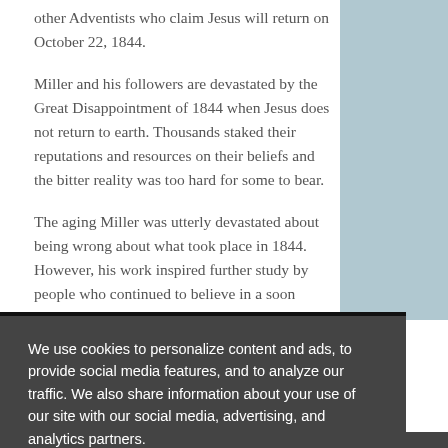other Adventists who claim Jesus will return on October 22, 1844.
Miller and his followers are devastated by the Great Disappointment of 1844 when Jesus does not return to earth. Thousands staked their reputations and resources on their beliefs and the bitter reality was too hard for some to bear.
The aging Miller was utterly devastated about being wrong about what took place in 1844. However, his work inspired further study by people who continued to believe in a soon Second Coming, and eventually embraced the truth of the seventh-day Sabbath.
We use cookies to personalize content and ads, to provide social media features, and to analyze our traffic. We also share information about your use of our site with our social media, advertising, and analytics partners.